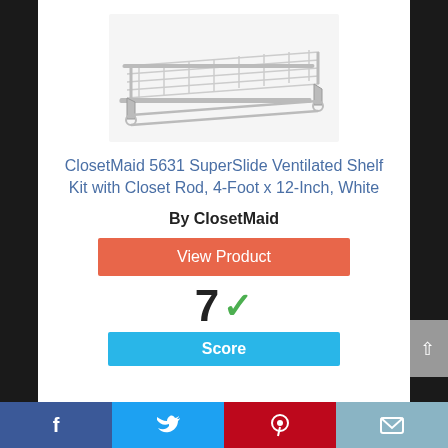[Figure (photo): Product photo of ClosetMaid 5631 SuperSlide ventilated wire shelf kit with closet rod, white, viewed from an angle showing the wire shelf surface and mounting brackets.]
ClosetMaid 5631 SuperSlide Ventilated Shelf Kit with Closet Rod, 4-Foot x 12-Inch, White
By ClosetMaid
View Product
7 ✓
Score